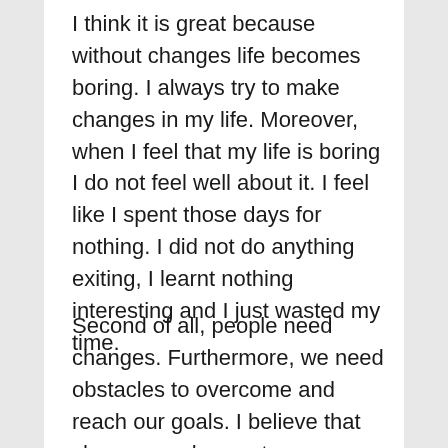I think it is great because without changes life becomes boring. I always try to make changes in my life. Moreover, when I feel that my life is boring I do not feel well about it. I feel like I spent those days for nothing. I did not do anything exiting, I learnt nothing interesting and I just wasted my time.
Second of all, people need changes. Furthermore, we need obstacles to overcome and reach our goals. I believe that changes make us stronger, more persistent, more self-confident, and more patient. Also, I feel that all people who succeeded in life like changes and new experience